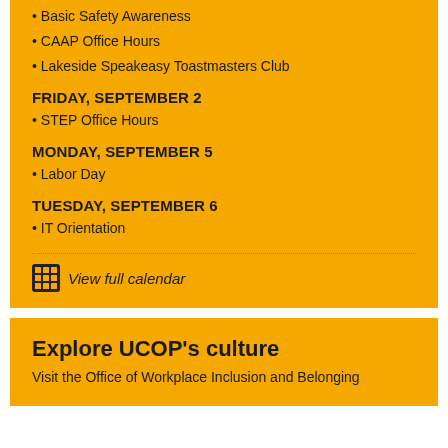• Basic Safety Awareness
• CAAP Office Hours
• Lakeside Speakeasy Toastmasters Club
FRIDAY, SEPTEMBER 2
• STEP Office Hours
MONDAY, SEPTEMBER 5
• Labor Day
TUESDAY, SEPTEMBER 6
• IT Orientation
View full calendar
Explore UCOP's culture
Visit the Office of Workplace Inclusion and Belonging